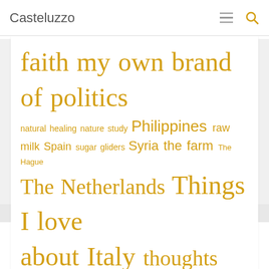Casteluzzo
homeschooling home tampered tape just fun make Middle East my faith my own brand of politics natural healing nature study Philippines raw milk Spain sugar gliders Syria the farm The Hague The Netherlands Things I love about Italy thoughts travel Tunisia work
Goodreads
The Signature of All Things